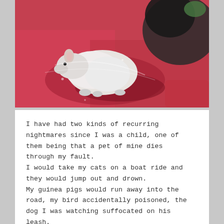[Figure (photo): Close-up photo of a small white and black animal, likely a pet rat or guinea pig, resting on a red surface. Another dark-colored animal is partially visible in the upper right corner.]
I have had two kinds of recurring nightmares since I was a child, one of them being that a pet of mine dies through my fault.
I would take my cats on a boat ride and they would jump out and drown.
My guinea pigs would run away into the road, my bird accidentally poisoned, the dog I was watching suffocated on his leash.

Last weekend, my pet rat died. I got